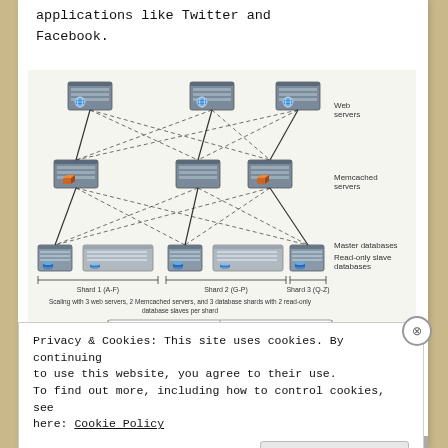applications like Twitter and Facebook.
[Figure (network-graph): Diagram showing Memcached/replication architecture with 3 shards. Each shard contains web servers (top), Memcached servers (middle), master databases and read-only slave databases (bottom). Arrows show read-only traffic (dashed) and read/write traffic (solid) between layers. Legend shows: Web servers, Memcached servers, Master databases, Read-only slave databases. Shards labeled: Shard 1 (A-F), Shard 2 (G-P), Shard 3 (Q-Z). Caption: Scaling with 3 web servers, 2 Memcached servers, and 3 database shards with 2 read-only database slaves per shard. Legend: --read-only traffic, --read/write traffic.]
Figure 2. Memcached/replication architecture
Privacy & Cookies: This site uses cookies. By continuing to use this website, you agree to their use. To find out more, including how to control cookies, see here: Cookie Policy